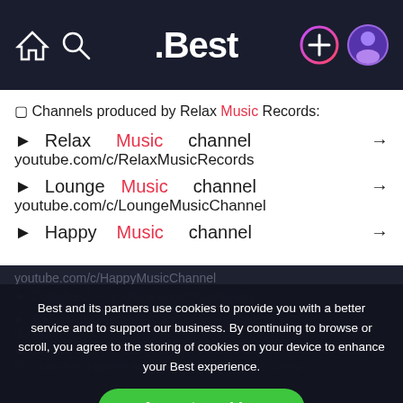.Best — navigation header with home, search, logo, add, and profile icons
🔲 Channels produced by Relax Music Records:
► Relax Music channel → youtube.com/c/RelaxMusicRecords
► Lounge Music channel → youtube.com/c/LoungeMusicChannel
► Happy Music channel → youtube.com/c/HappyMusicChannel
Best and its partners use cookies to provide you with a better service and to support our business. By continuing to browse or scroll, you agree to the storing of cookies on your device to enhance your Best experience.
Accept cookies
Only essentials
Learn more about our privacy policy.